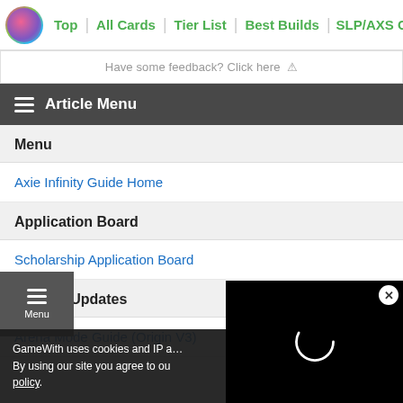Top | All Cards | Tier List | Best Builds | SLP/AXS Guide
Have some feedback? Click here ⚠
☰ Article Menu
Menu
Axie Infinity Guide Home
Application Board
Scholarship Application Board
News & Updates
Arena Mode Guide (Origin V3)
GameWith uses cookies and IP a… By using our site you agree to our policy.